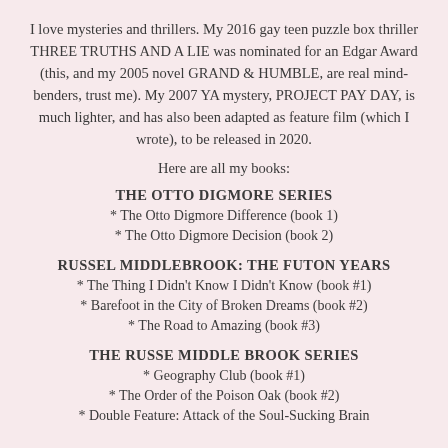I love mysteries and thrillers. My 2016 gay teen puzzle box thriller THREE TRUTHS AND A LIE was nominated for an Edgar Award (this, and my 2005 novel GRAND & HUMBLE, are real mind-benders, trust me). My 2007 YA mystery, PROJECT PAY DAY, is much lighter, and has also been adapted as feature film (which I wrote), to be released in 2020.
Here are all my books:
THE OTTO DIGMORE SERIES
* The Otto Digmore Difference (book 1)
* The Otto Digmore Decision (book 2)
RUSSEL MIDDLEBROOK: THE FUTON YEARS
* The Thing I Didn't Know I Didn't Know (book #1)
* Barefoot in the City of Broken Dreams (book #2)
* The Road to Amazing (book #3)
THE RUSSE MIDDLE BROOK SERIES
* Geography Club (book #1)
* The Order of the Poison Oak (book #2)
* Double Feature: Attack of the Soul-Sucking Brain